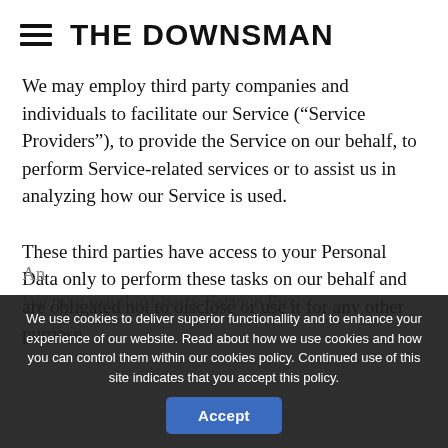THE DOWNSMAN
We may employ third party companies and individuals to facilitate our Service (“Service Providers”), to provide the Service on our behalf, to perform Service-related services or to assist us in analyzing how our Service is used.
These third parties have access to your Personal Data only to perform these tasks on our behalf and are obligated not to disclose or use it for any other purpose.
We use cookies to deliver superior functionallity and to enhance your experience of our website. Read about how we use cookies and how you can control them within our cookies policy. Continued use of this site indicates that you accept this policy.